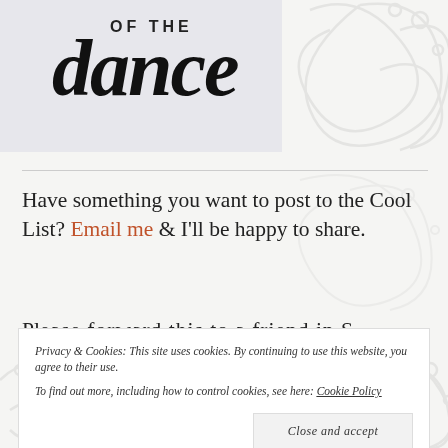[Figure (logo): Logo with 'OF THE' in bold uppercase and 'dance' in large decorative italic script, on a light gray background]
Have something you want to post to the Cool List? Email me & I'll be happy to share.
Pl...
Privacy & Cookies: This site uses cookies. By continuing to use this website, you agree to their use.
To find out more, including how to control cookies, see here: Cookie Policy
Close and accept